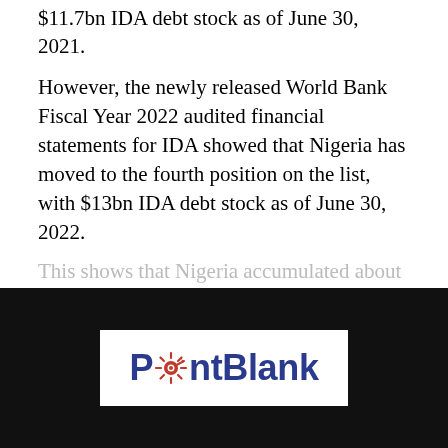$11.7bn IDA debt stock as of June 30, 2021.
However, the newly released World Bank Fiscal Year 2022 audited financial statements for IDA showed that Nigeria has moved to the fourth position on the list, with $13bn IDA debt stock as of June 30, 2022.
This shows that Nigeria accumulated about $1.3bn IDA
CONTINUE READING
[Figure (logo): PointBlank news logo — white background with navy/red gear-decorated wordmark]